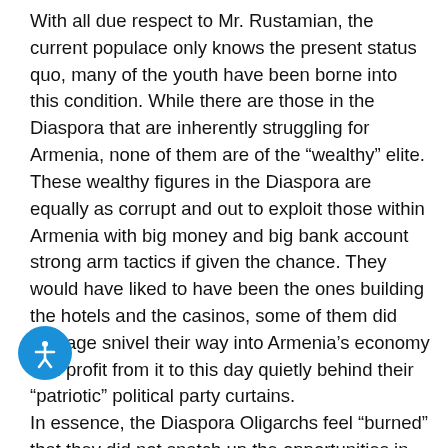With all due respect to Mr. Rustamian, the current populace only knows the present status quo, many of the youth have been borne into this condition. While there are those in the Diaspora that are inherently struggling for Armenia, none of them are of the “wealthy” elite. These wealthy figures in the Diaspora are equally as corrupt and out to exploit those within Armenia with big money and big bank account strong arm tactics if given the chance. They would have liked to have been the ones building the hotels and the casinos, some of them did manage snivel their way into Armenia’s economy and profit from it to this day quietly behind their “patriotic” political party curtains. In essence, the Diaspora Oligarchs feel “burned” that they did not snatch up the opportunities in Armenia to oppress, suppress, and exploit the country for personal gain before the domestic Oligarchs did. Now many of them are whining about how “if I was King I would do